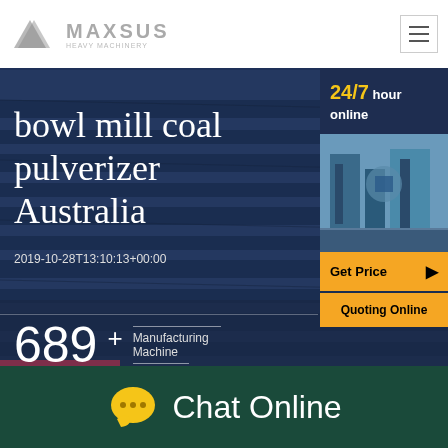[Figure (screenshot): Website screenshot showing MAXSUS heavy machinery company page with dark blue industrial background featuring metal roofing. Contains header with logo, hamburger menu, right sidebar with 24/7 online service info, industrial machinery photo, Get Price and Quoting Online buttons.]
bowl mill coal pulverizer Australia
2019-10-28T13:10:13+00:00
689 + Manufacturing Machine
Chat Online